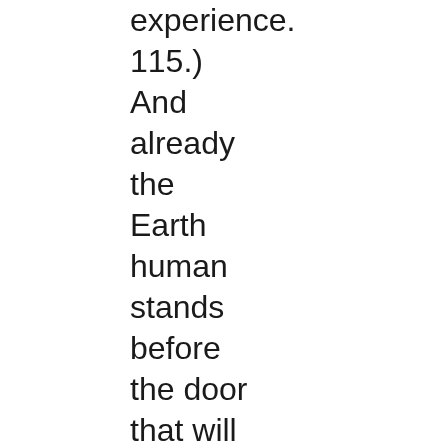experience. 115.) And already the Earth human stands before the door that will enable him to determine the masculinity or femininity of the progeny in the body of